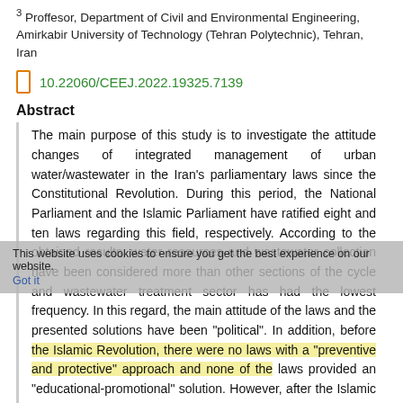3 Proffesor, Department of Civil and Environmental Engineering, Amirkabir University of Technology (Tehran Polytechnic), Tehran, Iran
10.22060/CEEJ.2022.19325.7139
Abstract
The main purpose of this study is to investigate the attitude changes of integrated management of urban water/wastewater in the Iran's parliamentary laws since the Constitutional Revolution. During this period, the National Parliament and the Islamic Parliament have ratified eight and ten laws regarding this field, respectively. According to the obtained results, water resources and wastewater collection have been considered more than other sections of the cycle and wastewater treatment sector has had the lowest frequency. In this regard, the main attitude of the laws and the presented solutions have been "political". In addition, before the Islamic Revolution, there were no laws with a "preventive and protective" approach and none of the laws provided an "educational-promotional" solution. However, after the Islamic Revolution, this important and effective approach has been